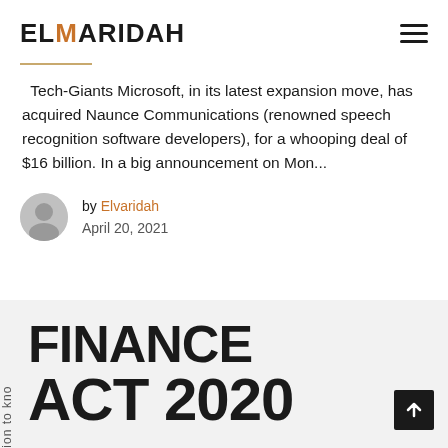ELMARIDAH
Tech-Giants Microsoft, in its latest expansion move, has acquired Naunce Communications (renowned speech recognition software developers), for a whooping deal of $16 billion. In a big announcement on Mon...
by Elvaridah
April 20, 2021
[Figure (other): Bottom card showing partial text 'FINANCE ACT 2020' in bold black letters on light grey background with rotated sidebar text and scroll-up button]